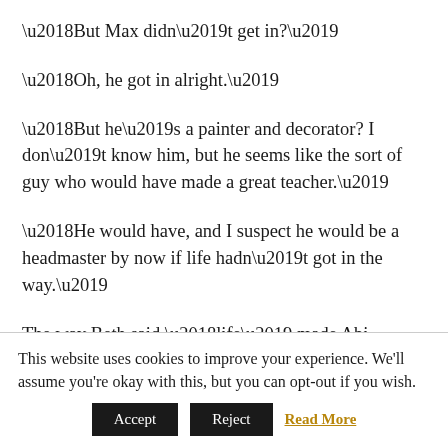‘But Max didn’t get in?’
‘Oh, he got in alright.’
‘But he’s a painter and decorator? I don’t know him, but he seems like the sort of guy who would have made a great teacher.’
‘He would have, and I suspect he would be a headmaster by now if life hadn’t got in the way.’
The way Beth said ‘life’ made Abi suspect that she
This website uses cookies to improve your experience. We'll assume you're okay with this, but you can opt-out if you wish.
Accept  Reject  Read More